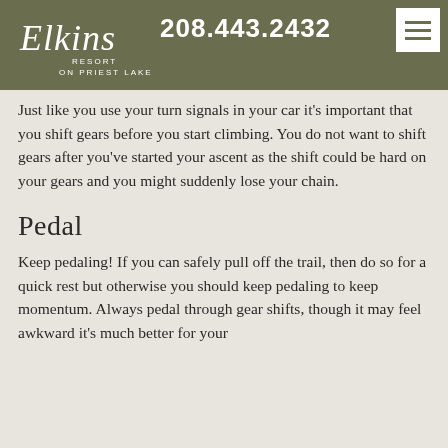Elkins Resort on Priest Lake | 208.443.2432
can determine which ones will be better when it's time to really use your gears.
Just like you use your turn signals in your car it's important that you shift gears before you start climbing. You do not want to shift gears after you've started your ascent as the shift could be hard on your gears and you might suddenly lose your chain.
Pedal
Keep pedaling! If you can safely pull off the trail, then do so for a quick rest but otherwise you should keep pedaling to keep momentum. Always pedal through gear shifts, though it may feel awkward it's much better for your